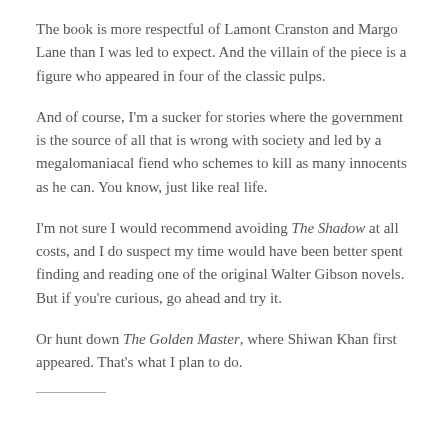The book is more respectful of Lamont Cranston and Margo Lane than I was led to expect. And the villain of the piece is a figure who appeared in four of the classic pulps.
And of course, I'm a sucker for stories where the government is the source of all that is wrong with society and led by a megalomaniacal fiend who schemes to kill as many innocents as he can. You know, just like real life.
I'm not sure I would recommend avoiding The Shadow at all costs, and I do suspect my time would have been better spent finding and reading one of the original Walter Gibson novels. But if you're curious, go ahead and try it.
Or hunt down The Golden Master, where Shiwan Khan first appeared. That's what I plan to do.